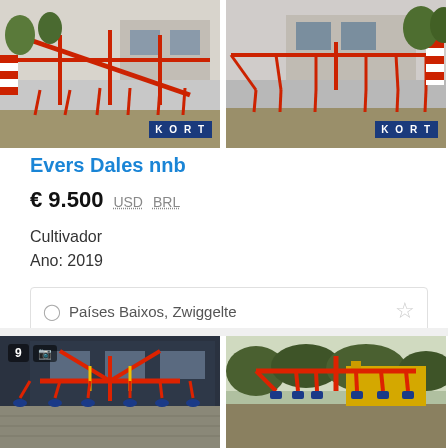[Figure (photo): Red cultivator agricultural machine photographed outdoors on pavement, with KORT badge overlay, left image]
[Figure (photo): Red cultivator agricultural machine photographed outdoors on pavement, with KORT badge overlay, right image]
Evers Dales nnb
€ 9.500   USD   BRL
Cultivador
Ano: 2019
Países Baixos, Zwiggelte
[Figure (photo): Red cultivator with blue tines photographed in front of industrial building, left bottom image]
[Figure (photo): Red cultivator with blue tines photographed outdoors with yellow equipment behind, right bottom image]